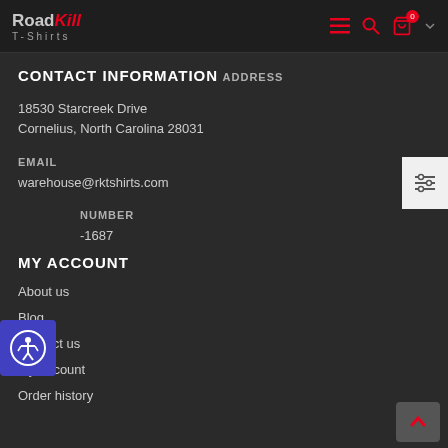RoadKill T-Shirts
CONTACT INFORMATION
ADDRESS
18530 Starcreek Drive
Cornelius, North Carolina 28031
EMAIL
warehouse@rktshirts.com
NUMBER
-1687
MY ACCOUNT
About us
Blog
Contact us
My Account
Order history